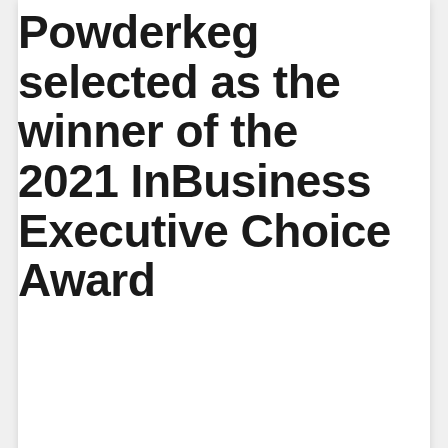Powderkeg selected as the winner of the 2021 InBusiness Executive Choice Award
MISCELLANEOUS
Your Guide to the